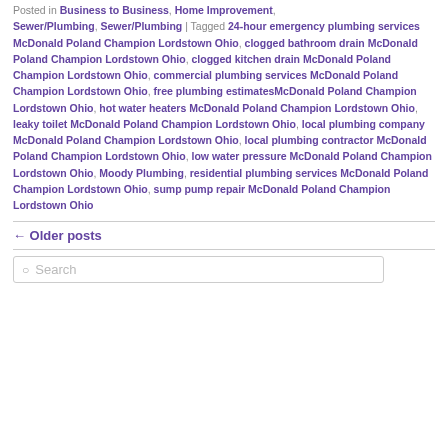Posted in Business to Business, Home Improvement, Sewer/Plumbing, Sewer/Plumbing | Tagged 24-hour emergency plumbing services McDonald Poland Champion Lordstown Ohio, clogged bathroom drain McDonald Poland Champion Lordstown Ohio, clogged kitchen drain McDonald Poland Champion Lordstown Ohio, commercial plumbing services McDonald Poland Champion Lordstown Ohio, free plumbing estimatesMcDonald Poland Champion Lordstown Ohio, hot water heaters McDonald Poland Champion Lordstown Ohio, leaky toilet McDonald Poland Champion Lordstown Ohio, local plumbing company McDonald Poland Champion Lordstown Ohio, local plumbing contractor McDonald Poland Champion Lordstown Ohio, low water pressure McDonald Poland Champion Lordstown Ohio, Moody Plumbing, residential plumbing services McDonald Poland Champion Lordstown Ohio, sump pump repair McDonald Poland Champion Lordstown Ohio
← Older posts
Search